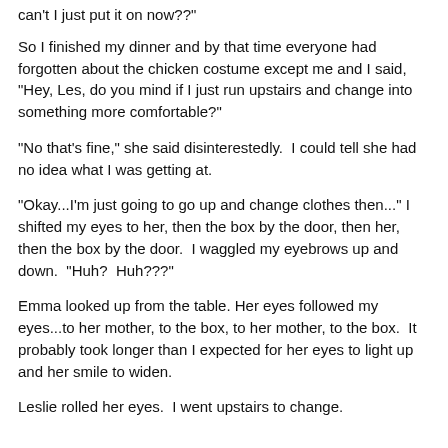can't I just put it on now??"
So I finished my dinner and by that time everyone had forgotten about the chicken costume except me and I said, "Hey, Les, do you mind if I just run upstairs and change into something more comfortable?"
"No that's fine," she said disinterestedly.  I could tell she had no idea what I was getting at.
"Okay...I'm just going to go up and change clothes then..." I shifted my eyes to her, then the box by the door, then her, then the box by the door.  I waggled my eyebrows up and down.  "Huh?  Huh???"
Emma looked up from the table. Her eyes followed my eyes...to her mother, to the box, to her mother, to the box.  It probably took longer than I expected for her eyes to light up and her smile to widen.
Leslie rolled her eyes.  I went upstairs to change.